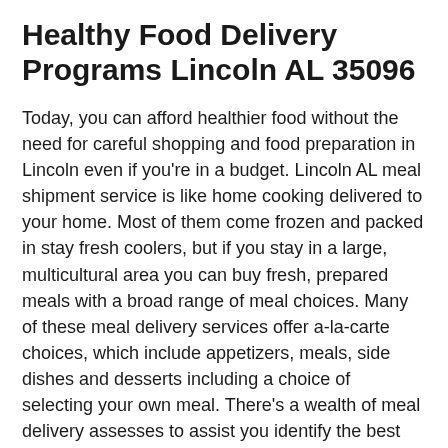Healthy Food Delivery Programs Lincoln AL 35096
Today, you can afford healthier food without the need for careful shopping and food preparation in Lincoln even if you're in a budget. Lincoln AL meal shipment service is like home cooking delivered to your home. Most of them come frozen and packed in stay fresh coolers, but if you stay in a large, multicultural area you can buy fresh, prepared meals with a broad range of meal choices. Many of these meal delivery services offer a-la-carte choices, which include appetizers, meals, side dishes and desserts including a choice of selecting your own meal. There's a wealth of meal delivery assesses to assist you identify the best Lincoln AL meal home delivery to consider. Considering that all meal delivery services have some type of guarantee, check the terms and conditions carefully. Plan term will certainly vary from company to company so assess the business by looking for food delivery examines from pleased consumers.